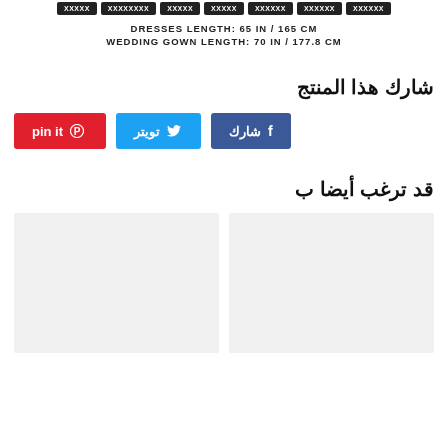[Figure (other): Row of navigation buttons in dark/black background at the top]
DRESSES LENGTH: 65 IN / 165 CM
WEDDING GOWN LENGTH: 70 IN / 177.8 CM
شارك هذا المنتج
[Figure (infographic): Three social share buttons: Facebook (شارك), Twitter (تويتر), Pinterest (pin it)]
قد ترغب أيضا ب
[Figure (other): Two light gray product image placeholder cards side by side]